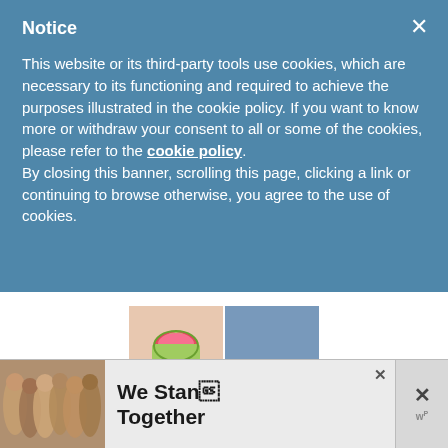Notice
This website or its third-party tools use cookies, which are necessary to its functioning and required to achieve the purposes illustrated in the cookie policy. If you want to know more or withdraw your consent to all or some of the cookies, please refer to the cookie policy. By closing this banner, scrolling this page, clicking a link or continuing to browse otherwise, you agree to the use of cookies.
[Figure (photo): 2x2 mosaic of four craft/sewing related photos]
Picks of the Week
[Figure (photo): Advertisement banner with group of people photo and 'We Stand Together' text]
[Figure (photo): Partially visible photo below the fold]